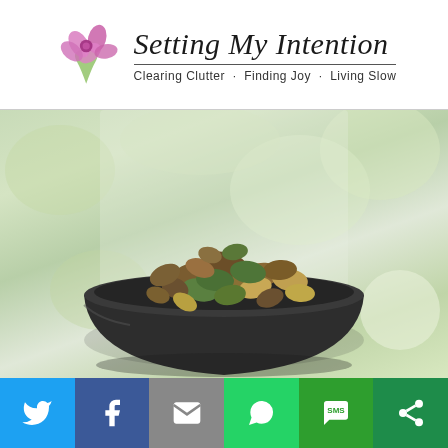Setting My Intention — Clearing Clutter · Finding Joy · Living Slow
[Figure (photo): A dark ceramic bowl filled with mixed nuts (almonds, pistachios, and other nuts) placed in front of a bright window with blurred green foliage in the background.]
[Figure (infographic): Social media share bar with six buttons: Twitter (blue), Facebook (dark blue), Email (gray), WhatsApp (green), SMS (green), and a generic share button (dark green).]